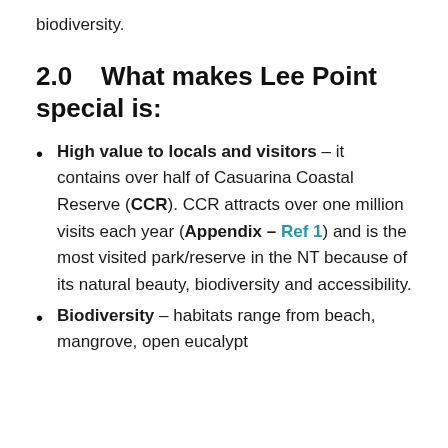biodiversity.
2.0    What makes Lee Point special is:
High value to locals and visitors – it contains over half of Casuarina Coastal Reserve (CCR). CCR attracts over one million visits each year (Appendix – Ref 1) and is the most visited park/reserve in the NT because of its natural beauty, biodiversity and accessibility.
Biodiversity – habitats range from beach, mangrove, open eucalypt